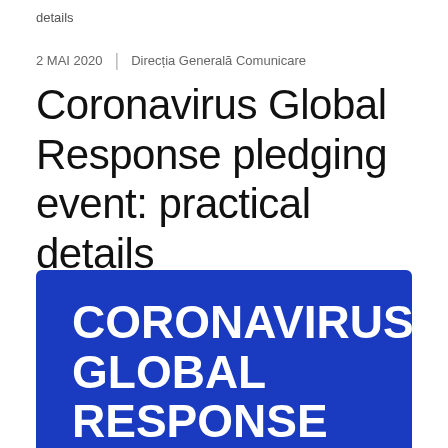details
2 MAI 2020 | Direcția Generală Comunicare
Coronavirus Global Response pledging event: practical details
[Figure (illustration): Blue banner image with white bold text reading CORONAVIRUS GLOBAL RESPONSE (partially visible)]